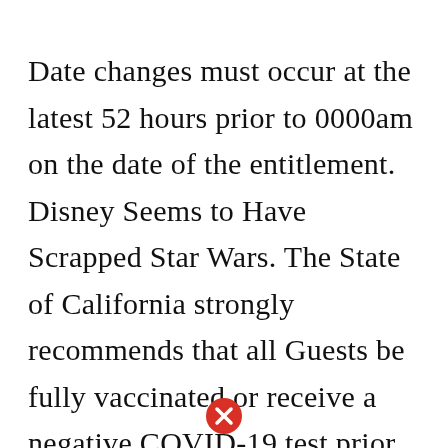Date changes must occur at the latest 52 hours prior to 0000am on the date of the entitlement. Disney Seems to Have Scrapped Star Wars. The State of California strongly recommends that all Guests be fully vaccinated or receive a negative COVID-19 test prior to entering the Disneyland Resort. 2 days agoWill you be swinging by the Disney Springs Marketplace to check out this fun new arrival. Designed with kids in mind this bright welcoming space is awash in creative possibilities and endless ways to play.